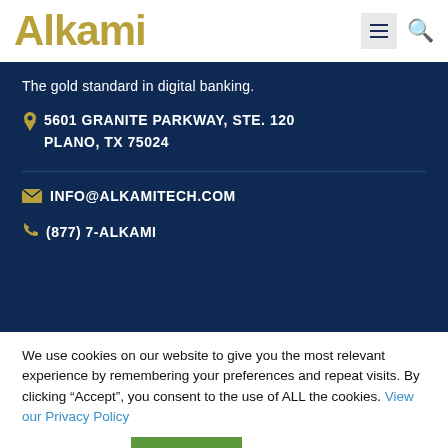Alkami
The gold standard in digital banking.
5601 GRANITE PARKWAY, STE. 120
PLANO, TX 75024
INFO@ALKAMITECH.COM
(877) 7-ALKAMI
We use cookies on our website to give you the most relevant experience by remembering your preferences and repeat visits. By clicking “Accept”, you consent to the use of ALL the cookies. View our Privacy Policy